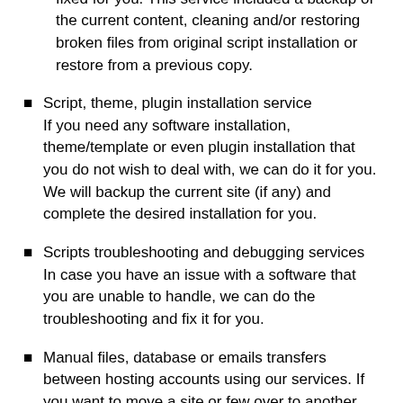infected you can rely on our help getting this fixed for you. This service included a backup of the current content, cleaning and/or restoring broken files from original script installation or restore from a previous copy.
Script, theme, plugin installation service
If you need any software installation, theme/template or even plugin installation that you do not wish to deal with, we can do it for you. We will backup the current site (if any) and complete the desired installation for you.
Scripts troubleshooting and debugging services
In case you have an issue with a software that you are unable to handle, we can do the troubleshooting and fix it for you.
Manual files, database or emails transfers between hosting accounts using our services. If you want to move a site or few over to another account we can